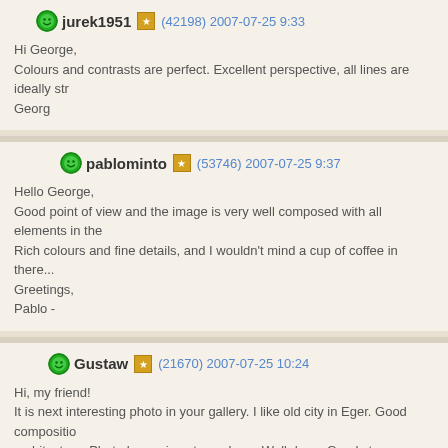jurek1951 (42198) 2007-07-25 9:33
Hi George,
Colours and contrasts are perfect. Excellent perspective, all lines are ideally str...
Georg
pablominto (53746) 2007-07-25 9:37
Hello George,
Good point of view and the image is very well composed with all elements in the...
Rich colours and fine details, and I wouldn't mind a cup of coffee in there...
Greetings,
Pablo -
Gustaw (21670) 2007-07-25 10:24
Hi, my friend!
It is next interesting photo in your gallery. I like old city in Eger. Good compositio...
architecture. Photo have nice atmosphere. Well done. Good strong colours.
marek
john_c (24666) 2007-07-25 10:31